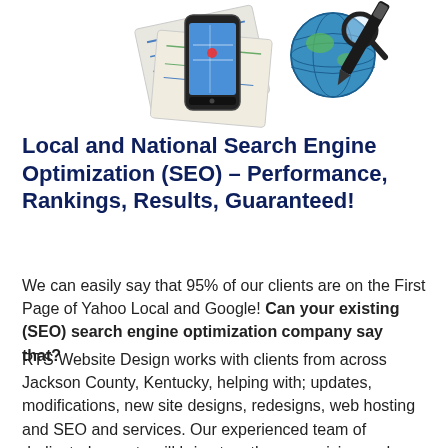[Figure (illustration): Illustration of a smartphone, map/directions papers, a globe with a magnifying glass, and a black pen/marker — representing local and national SEO and web services.]
Local and National Search Engine Optimization (SEO) – Performance, Rankings, Results, Guaranteed!
We can easily say that 95% of our clients are on the First Page of Yahoo Local and Google! Can your existing (SEO) search engine optimization company say that?
RTS Website Design works with clients from across Jackson County, Kentucky, helping with; updates, modifications, new site designs, redesigns, web hosting and SEO and services. Our experienced team of dedicated experts will bring together your vision and ideas into reality with technology, creativity and marketing expertise. We welcome you to experience for yourself our extraordinary customer service,